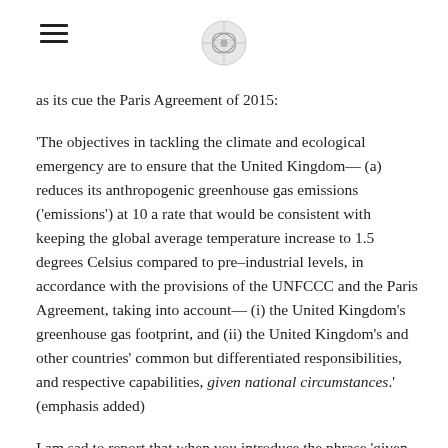[hamburger menu icon] [logo/emblem image]
as its cue the Paris Agreement of 2015:
‘The objectives in tackling the climate and ecological emergency are to ensure that the United Kingdom— (a) reduces its anthropogenic greenhouse gas emissions (‘emissions’) at 10 a rate that would be consistent with keeping the global average temperature increase to 1.5 degrees Celsius compared to pre–industrial levels, in accordance with the provisions of the UNFCCC and the Paris Agreement, taking into account— (i) the United Kingdom’s greenhouse gas footprint, and (ii) the United Kingdom’s and other countries’ common but differentiated responsibilities, and respective capabilities, given national circumstances.’ (emphasis added)
I am sad to report that when you introduce the phrase ‘given national circumstances’ you write an open cheque for countries to do what ever it is they think they might